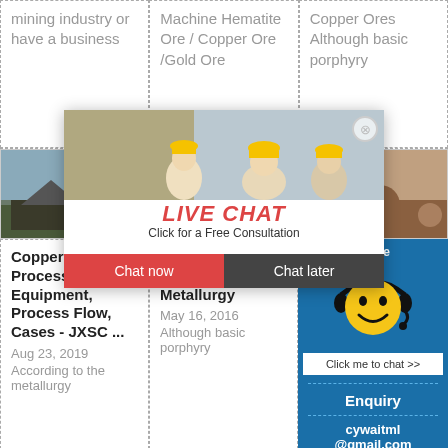mining industry or have a business
Machine Hematite Ore / Copper Ore /Gold Ore
Copper Ores Although basic porphyry
[Figure (photo): Landscape/aerial view of mining site]
[Figure (photo): Mining excavation site with rocks]
[Figure (photo): Rocky terrain and excavation]
[Figure (screenshot): Live Chat popup overlay with workers in hard hats, Chat now and Chat later buttons]
Copper Processing Equipment, Process Flow, Cases - JXSC ...
Aug 23, 2019
According to the metallurgy
Mineral Processing Metallurgy
May 16, 2016
Although basic porphyry
7 hours online
Click me to chat >>
Enquiry
cywaitml @gmail.com